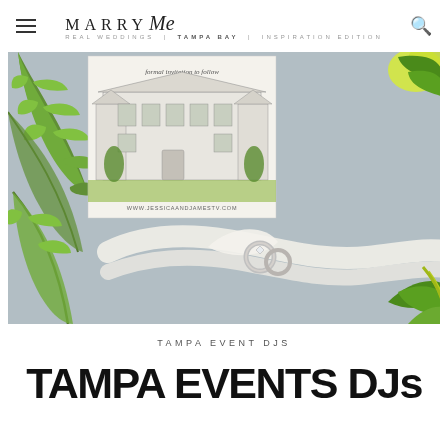MARRY Me TAMPA BAY
[Figure (photo): Wedding flatlay photo showing fern leaves on the left, a formal invitation card with a mansion illustration and URL www.jessicaandjamestv.com, a white ribbon with silver wedding rings, green citrus and leaves on the right, all on a gray textured background.]
TAMPA EVENT DJS
TAMPA EVENTS DJs